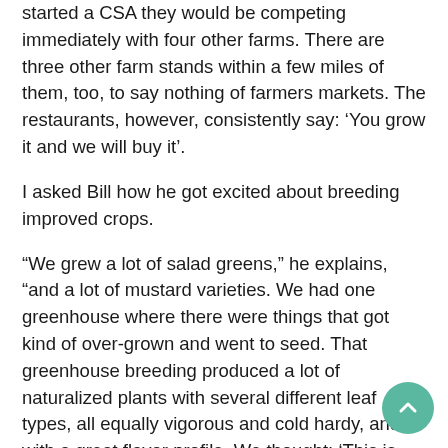started a CSA they would be competing immediately with four other farms. There are three other farm stands within a few miles of them, too, to say nothing of farmers markets. The restaurants, however, consistently say: 'You grow it and we will buy it'.
I asked Bill how he got excited about breeding improved crops.
“We grew a lot of salad greens,” he explains, “and a lot of mustard varieties. We had one greenhouse where there were things that got kind of over-grown and went to seed. That greenhouse breeding produced a lot of naturalized plants with several different leaf types, all equally vigorous and cold hardy, and with a great flavor profile. We thought: ‘This is worth keeping.’ So we have been carrying them. They are adapting to this location and our conditions. That to me is what this is all about!